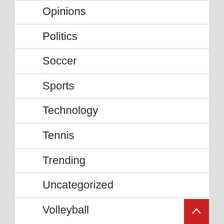Opinions
Politics
Soccer
Sports
Technology
Tennis
Trending
Uncategorized
Volleyball